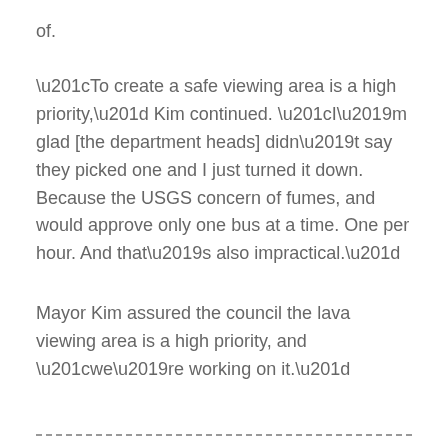of.
“To create a safe viewing area is a high priority,” Kim continued. “I’m glad [the department heads] didn’t say they picked one and I just turned it down. Because the USGS concern of fumes, and would approve only one bus at a time. One per hour. And that’s also impractical.”
Mayor Kim assured the council the lava viewing area is a high priority, and “we’re working on it.”